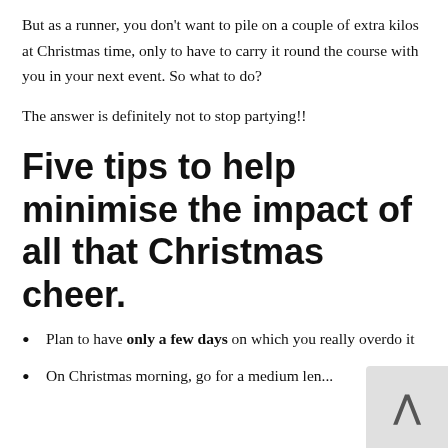But as a runner, you don't want to pile on a couple of extra kilos at Christmas time, only to have to carry it round the course with you in your next event. So what to do?
The answer is definitely not to stop partying!!
Five tips to help minimise the impact of all that Christmas cheer.
Plan to have only a few days on which you really overdo it
On Christmas morning, go for a medium len...